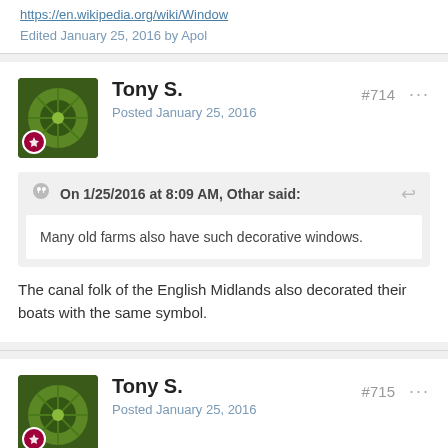https://en.wikipedia.org/wiki/Window
Edited January 25, 2016 by Apol
Tony S. #714 ··· Posted January 25, 2016
On 1/25/2016 at 8:09 AM, Othar said:
Many old farms also have such decorative windows.
The canal folk of the English Midlands also decorated their boats with the same symbol.
Tony S. #715 ··· Posted January 25, 2016